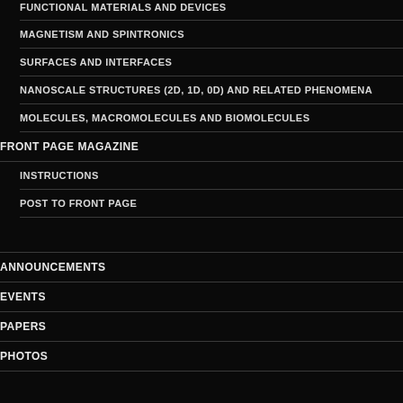FUNCTIONAL MATERIALS AND DEVICES
MAGNETISM AND SPINTRONICS
SURFACES AND INTERFACES
NANOSCALE STRUCTURES (2D, 1D, 0D) AND RELATED PHENOMENA
MOLECULES, MACROMOLECULES AND BIOMOLECULES
FRONT PAGE MAGAZINE
INSTRUCTIONS
POST TO FRONT PAGE
ANNOUNCEMENTS
EVENTS
PAPERS
PHOTOS